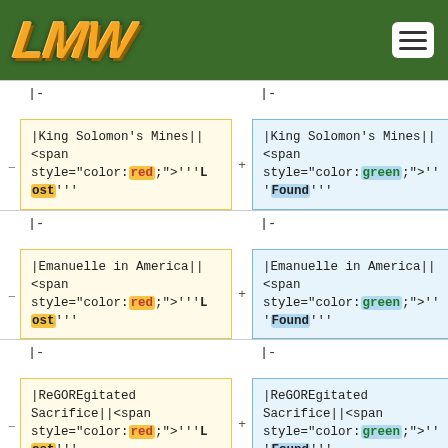LMW (logo) with navigation menu button on green bar
|- (separator row, two columns)
| Before (Lost) | After (Found) |
| --- | --- |
| |King Solomon's Mines||<span style="color:red;">'''Lost''' | |King Solomon's Mines||<span style="color:green;">'''Found''' |
| |- | |- |
| |Emanuelle in America||<span style="color:red;">'''Lost''' | |Emanuelle in America||<span style="color:green;">'''Found''' |
| |- | |- |
| |ReGOREgitated Sacrifice||<span style="color:red;">'''Lost''' | |ReGOREgitated Sacrifice||<span style="color:green;">'''Found''' |
| |- | |- |